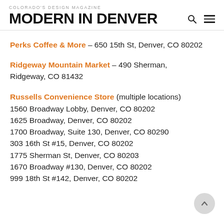COLORADO'S DESIGN MAGAZINE — MODERN IN DENVER
Perks Coffee & More – 650 15th St, Denver, CO 80202
Ridgeway Mountain Market – 490 Sherman, Ridgeway, CO 81432
Russells Convenience Store (multiple locations)
1560 Broadway Lobby, Denver, CO 80202
1625 Broadway, Denver, CO 80202
1700 Broadway, Suite 130, Denver, CO 80290
303 16th St #15, Denver, CO 80202
1775 Sherman St, Denver, CO 80203
1670 Broadway #130, Denver, CO 80202
999 18th St #142, Denver, CO 80202